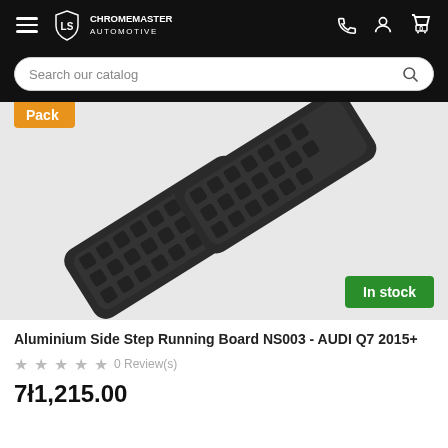[Figure (screenshot): Chromemaster Automotive website header with hamburger menu, logo, phone, profile, and cart icons on black background]
[Figure (screenshot): Search bar with placeholder text 'Search our catalog' and search icon, on black background]
[Figure (photo): Aluminium Side Step Running Boards NS003 for AUDI Q7 2015+, two black textured running boards shown diagonally. Orange 'Pack' badge top-left, green 'In stock' badge bottom-right.]
Aluminium Side Step Running Board NS003 - AUDI Q7 2015+
★★★★★ 0 Review(s)
7ł1,215.00